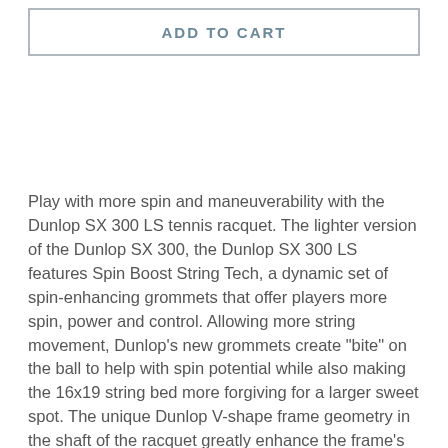ADD TO CART
Play with more spin and maneuverability with the Dunlop SX 300 LS tennis racquet. The lighter version of the Dunlop SX 300, the Dunlop SX 300 LS features Spin Boost String Tech, a dynamic set of spin-enhancing grommets that offer players more spin, power and control. Allowing more string movement, Dunlop's new grommets create "bite" on the ball to help with spin potential while also making the 16x19 string bed more forgiving for a larger sweet spot. The unique Dunlop V-shape frame geometry in the shaft of the racquet greatly enhance the frame's stability and access to power. Players can really feel the stability when coming in to the net for volleys. Sonic Core, a